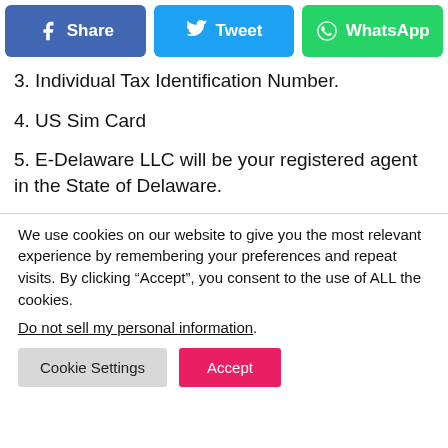[Figure (other): Social media share buttons: Facebook (Share), Twitter (Tweet), WhatsApp]
3. Individual Tax Identification Number.
4. US Sim Card
5. E-Delaware LLC will be your registered agent in the State of Delaware.
We use cookies on our website to give you the most relevant experience by remembering your preferences and repeat visits. By clicking “Accept”, you consent to the use of ALL the cookies.
Do not sell my personal information.
Cookie Settings | Accept